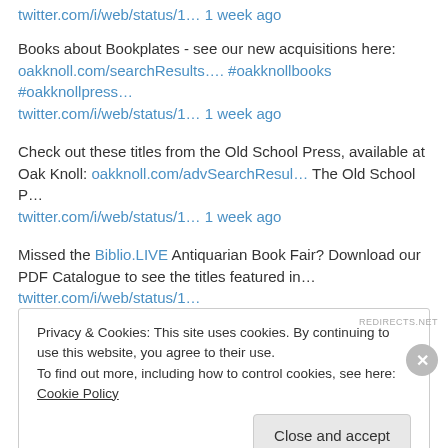twitter.com/i/web/status/1… 1 week ago
Books about Bookplates - see our new acquisitions here: oakknoll.com/searchResults…. #oakknollbooks #oakknollpress… twitter.com/i/web/status/1… 1 week ago
Check out these titles from the Old School Press, available at Oak Knoll: oakknoll.com/advSearchResul… The Old School P… twitter.com/i/web/status/1… 1 week ago
Missed the Biblio.LIVE Antiquarian Book Fair? Download our PDF Catalogue to see the titles featured in… twitter.com/i/web/status/1… 1 week ago
Privacy & Cookies: This site uses cookies. By continuing to use this website, you agree to their use.
To find out more, including how to control cookies, see here: Cookie Policy
Close and accept